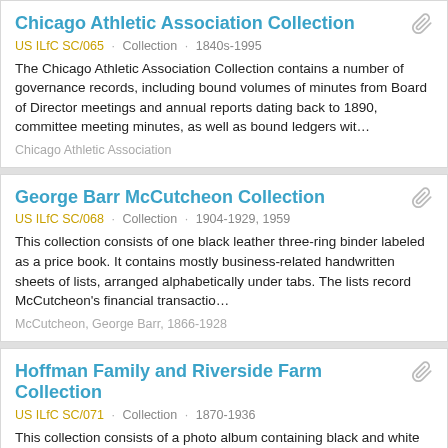Chicago Athletic Association Collection
US ILfC SC/065 · Collection · 1840s-1995
The Chicago Athletic Association Collection contains a number of governance records, including bound volumes of minutes from Board of Director meetings and annual reports dating back to 1890, committee meeting minutes, as well as bound ledgers wit…
Chicago Athletic Association
George Barr McCutcheon Collection
US ILfC SC/068 · Collection · 1904-1929, 1959
This collection consists of one black leather three-ring binder labeled as a price book. It contains mostly business-related handwritten sheets of lists, arranged alphabetically under tabs. The lists record McCutcheon's financial transactio…
McCutcheon, George Barr, 1866-1928
Hoffman Family and Riverside Farm Collection
US ILfC SC/071 · Collection · 1870-1936
This collection consists of a photo album containing black and white photographs, mostly of Riverside Farm, some with people. There are also small black and white photographs of unknown people, each contained within an envelope labeled with photo